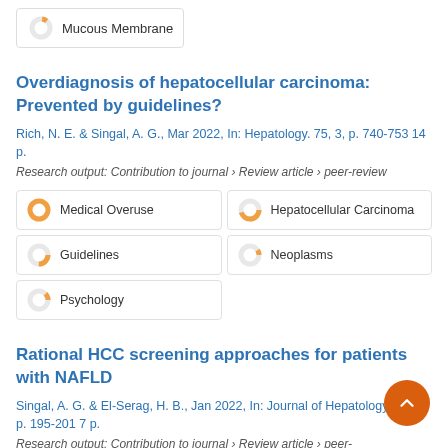[Figure (infographic): Mucous Membrane badge with partial orange donut icon]
Overdiagnosis of hepatocellular carcinoma: Prevented by guidelines?
Rich, N. E. & Singal, A. G., Mar 2022, In: Hepatology. 75, 3, p. 740-753 14 p.
Research output: Contribution to journal › Review article › peer-review
[Figure (infographic): Medical Overuse badge - 100% orange donut]
[Figure (infographic): Hepatocellular Carcinoma badge - ~70% orange donut]
[Figure (infographic): Guidelines badge - ~50% orange donut]
[Figure (infographic): Neoplasms badge - ~15% orange donut]
[Figure (infographic): Psychology badge - ~12% orange donut]
Rational HCC screening approaches for patients with NAFLD
Singal, A. G. & El-Serag, H. B., Jan 2022, In: Journal of Hepatology. 76, 1, p. 195-201 7 p.
Research output: Contribution to journal › Review article › peer-